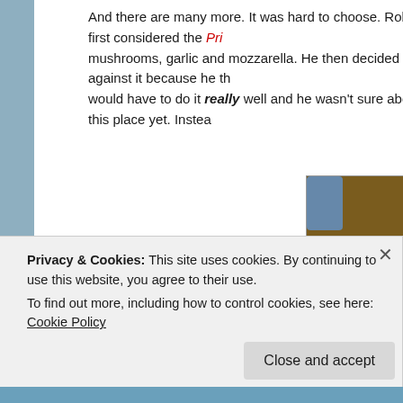And there are many more. It was hard to choose. Rob first considered the Pri mushrooms, garlic and mozzarella. He then decided against it because he th would have to do it really well and he wasn't sure about this place yet. Instea
[Figure (photo): A close-up photo of a whole pizza with tomato sauce, melted mozzarella cheese, and various toppings including what appears to be pepperoni and vegetables, on a wooden board. The pizza is cut into slices.]
Privacy & Cookies: This site uses cookies. By continuing to use this website, you agree to their use.
To find out more, including how to control cookies, see here: Cookie Policy